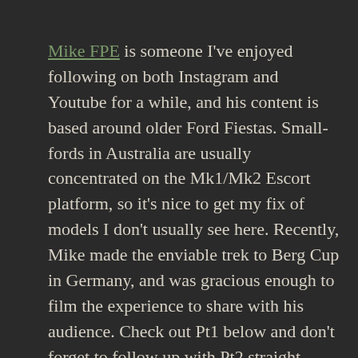Mike FPE is someone I've enjoyed following on both Instagram and Youtube for a while, and his content is based around older Ford Fiestas. Small-fords in Australia are usually concentrated on the Mk1/Mk2 Escort platform, so it's nice to get my fix of models I don't usually see here. Recently, Mike made the enviable trek to Berg Cup in Germany, and was gracious enough to film the experience to share with his audience. Check out Pt1 below and don't forget to follow up with Pt2 straight after!